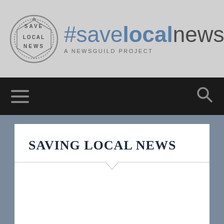#savelocalnews — A NEWSGUILD PROJECT
[Figure (logo): Save Local News circular logo with text SAVE LOCAL NEWS around the border]
SAVING LOCAL NEWS